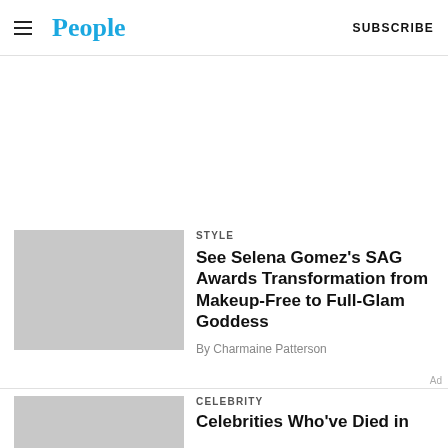People · SUBSCRIBE
[Figure (photo): Gray placeholder thumbnail for Selena Gomez SAG Awards article]
STYLE
See Selena Gomez's SAG Awards Transformation from Makeup-Free to Full-Glam Goddess
By Charmaine Patterson
[Figure (photo): Gray placeholder thumbnail for Celebrities article]
CELEBRITY
Celebrities Who've Died in